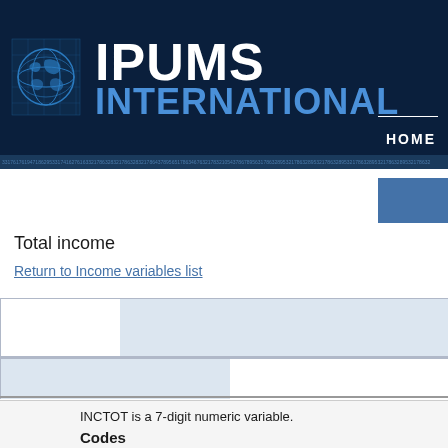[Figure (logo): IPUMS International logo with globe graphic and header banner in dark navy blue]
HOME
Total income
Return to Income variables list
INCTOT is a 7-digit numeric variable.
Codes